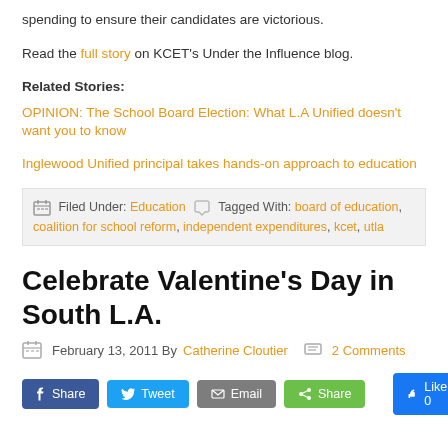spending to ensure their candidates are victorious.
Read the full story on KCET's Under the Influence blog.
Related Stories:
OPINION: The School Board Election: What L.A Unified doesn't want you to know
Inglewood Unified principal takes hands-on approach to education
Filed Under: Education  Tagged With: board of education, coalition for school reform, independent expenditures, kcet, utla
Celebrate Valentine's Day in South L.A.
February 13, 2011 By Catherine Cloutier  2 Comments